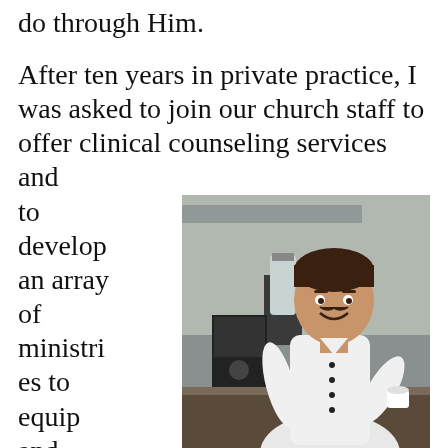do through Him.
After ten years in private practice, I was asked to join our church staff to offer clinical counseling services and to develop an array of ministries to equip and help laymen develop and grow. I was blessed to do that for another 13 years and when I retired I thought that was the last stop. But the Lord had more in mind. Sounds just like Him, right?
[Figure (photo): A smiling man in a white chef's uniform standing in a kitchen with a blender and coffee machine behind him, holding a white cup.]